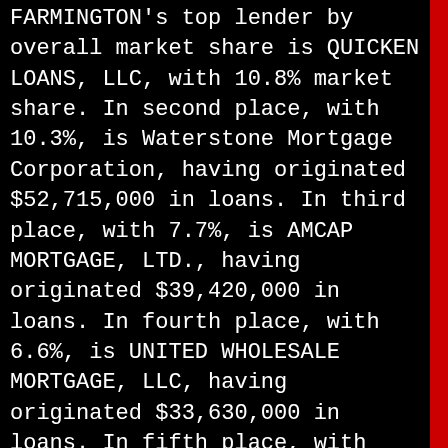FARMINGTON's top lender by overall market share is QUICKEN LOANS, LLC, with 10.8% market share. In second place, with 10.3%, is Waterstone Mortgage Corporation, having originated $52,715,000 in loans. In third place, with 7.7%, is AMCAP MORTGAGE, LTD., having originated $39,420,000 in loans. In fourth place, with 6.6%, is UNITED WHOLESALE MORTGAGE, LLC, having originated $33,630,000 in loans. In fifth place, with 5.0%, is FREEDOM MORTGAGE CORPORATION, having originated $25,730,000 in loans.